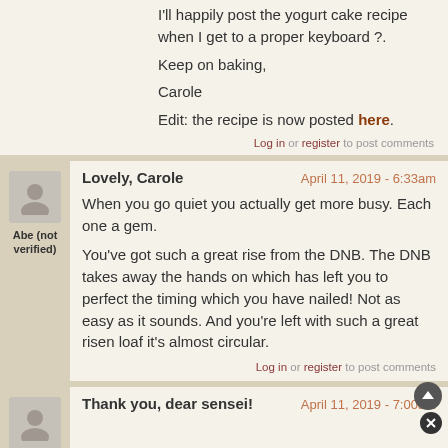I'll happily post the yogurt cake recipe when I get to a proper keyboard ?.
Keep on baking,
Carole
Edit: the recipe is now posted here.
Log in or register to post comments
Lovely, Carole
April 11, 2019 - 6:33am
Abe (not verified)
When you go quiet you actually get more busy. Each one a gem.
You've got such a great rise from the DNB. The DNB takes away the hands on which has left you to perfect the timing which you have nailed! Not as easy as it sounds. And you're left with such a great risen loaf it's almost circular.
Log in or register to post comments
Thank you, dear sensei!
April 11, 2019 - 7:00am